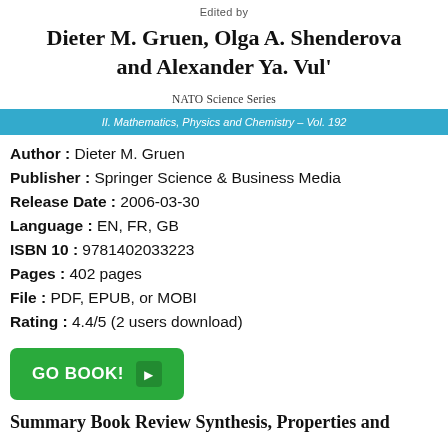Edited by
Dieter M. Gruen, Olga A. Shenderova and Alexander Ya. Vul'
NATO Science Series
II. Mathematics, Physics and Chemistry – Vol. 192
Author : Dieter M. Gruen
Publisher : Springer Science & Business Media
Release Date : 2006-03-30
Language : EN, FR, GB
ISBN 10 : 9781402033223
Pages : 402 pages
File : PDF, EPUB, or MOBI
Rating : 4.4/5 (2 users download)
GO BOOK!
Summary Book Review Synthesis, Properties and